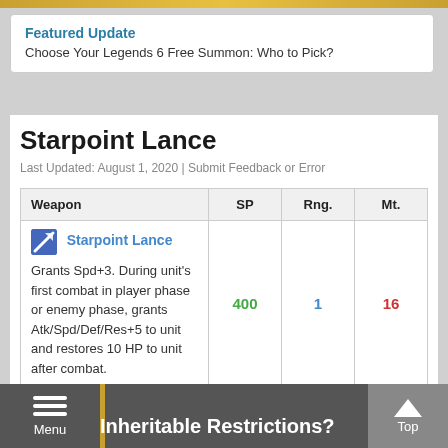Featured Update
Choose Your Legends 6 Free Summon: Who to Pick?
Starpoint Lance
Last Updated: August 1, 2020 | Submit Feedback or Error
| Weapon | SP | Rng. | Mt. |
| --- | --- | --- | --- |
| Starpoint Lance
Grants Spd+3. During unit's first combat in player phase or enemy phase, grants Atk/Spd/Def/Res+5 to unit and restores 10 HP to unit after combat. | 400 | 1 | 16 |
Inheritable Restrictions?